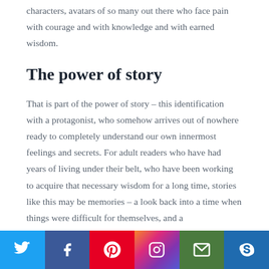characters, avatars of so many out there who face pain with courage and with knowledge and with earned wisdom.
The power of story
That is part of the power of story – this identification with a protagonist, who somehow arrives out of nowhere ready to completely understand our own innermost feelings and secrets. For adult readers who have had years of living under their belt, who have been working to acquire that necessary wisdom for a long time, stories like this may be memories – a look back into a time when things were difficult for themselves, and a